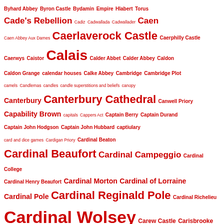Byhard Abbey Byron Castle Bydamin Empire Hlabert Torus Cade's Rebellion Cadiz Cadwallada Cadwallader Caen Caen Abbey Aux Dames Caerlaverock Castle Caerphilly Castle Caerwys Caistor Calais Calder Abbet Calder Abbey Caldon Caldon Grange calendar houses Calke Abbey Cambridge Cambridge Plot camels Candlemas candles candle superstitions and beliefs canopy Canterbury Canterbury Cathedral Canwell Priory Capability Brown capitals Cappers Act Captain Berry Captain Durand Captain John Hodgson Captain John Hubbard captiulary card and dice games Cardigan Priory Cardinal Beaton Cardinal Beaufort Cardinal Campeggio Cardinal College Cardinal Henry Beaufort Cardinal Morton Cardinal of Lorraine Cardinal Pole Cardinal Reginald Pole Cardinal Richelieu Cardinal Wolsey Carew Castle Carisbrooke Castle Carlisle Carlisle Castle Carlisle cathedral Carlisle Charter Carlisle priory Carmarthen Caroline of Ansbach Caroz Carthusians Cartmel Cartmel Church cartoon cartulary Carucate carved bench ends Castile Castle Baynard Castle Bolton